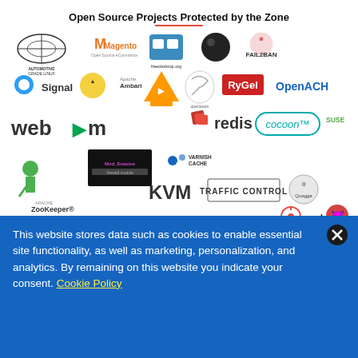Open Source Projects Protected by the Zone
[Figure (logo): Grid of open source project logos including Automotive Grade Linux, Magento, freedesktop.org, Fail2Ban, Signal, Apache Ambari, VLC, OpenSwan, RyGel, OpenACH, WebM, Redis, Cocoon, SUSE, Mod_Evasive, Varnish Cache, Apache ZooKeeper, KVM, Traffic Control, Quagga, Ceph, ClamAV, UnifiedRemote, QEMU, Nagios, Android 10 GSI]
The Linux Foundation participates in Unified Patents’ Open Source Zone to help protect
This website stores data such as cookies to enable essential site functionality, as well as marketing, personalization, and analytics. By remaining on this website you indicate your consent. Cookie Policy